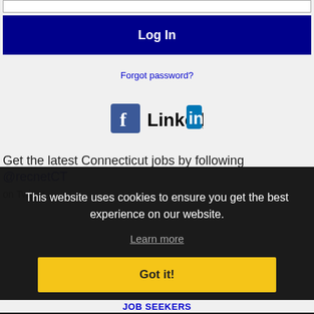[Figure (screenshot): Input text field (password/login field) at the top of the page]
Log In
Forgot password?
[Figure (logo): Facebook logo icon and LinkedIn logo side by side]
Get the latest Connecticut jobs by following @recnetCT on Twitter
This website uses cookies to ensure you get the best experience on our website.
Learn more
Got it!
JOB SEEKERS